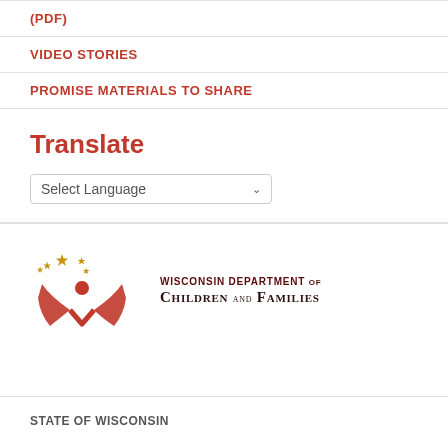(PDF)
VIDEO STORIES
PROMISE MATERIALS TO SHARE
Translate
Select Language
[Figure (logo): Wisconsin Department of Children and Families logo with red and gold star-and-wings emblem]
STATE OF WISCONSIN